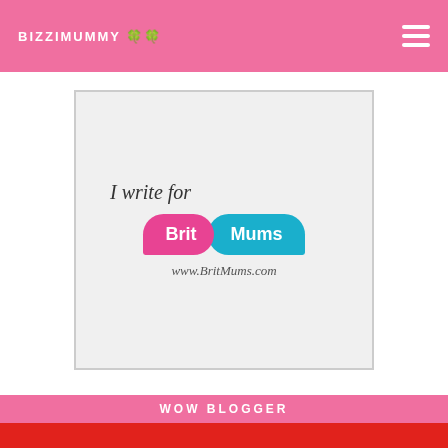BIZZIMUMMY 🍀🍀
[Figure (logo): BritMums badge with text 'I write for' in cursive above two speech bubbles - pink bubble saying 'Brit' and teal bubble saying 'Mums', with 'www.BritMums.com' below]
WOW BLOGGER
[Figure (logo): WOW Toys logo on red background with yellow starburst and 'WOW' in white bold letters outlined in dark blue, with a superhero character figure at the bottom]